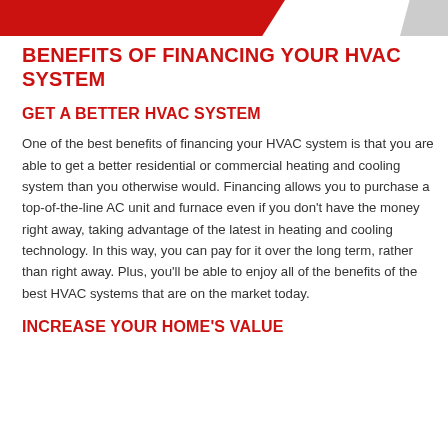[Figure (other): Red banner bar at top of page with gray accent shape on right]
BENEFITS OF FINANCING YOUR HVAC SYSTEM
GET A BETTER HVAC SYSTEM
One of the best benefits of financing your HVAC system is that you are able to get a better residential or commercial heating and cooling system than you otherwise would. Financing allows you to purchase a top-of-the-line AC unit and furnace even if you don't have the money right away, taking advantage of the latest in heating and cooling technology. In this way, you can pay for it over the long term, rather than right away. Plus, you'll be able to enjoy all of the benefits of the best HVAC systems that are on the market today.
INCREASE YOUR HOME'S VALUE